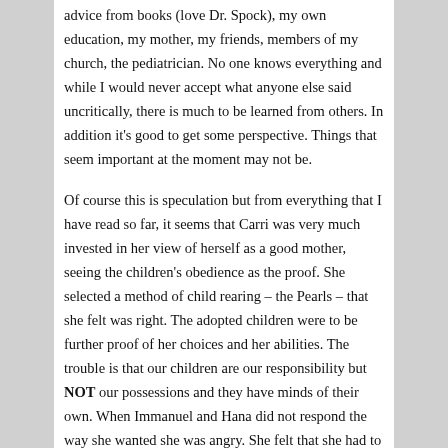advice from books (love Dr. Spock), my own education, my mother, my friends, members of my church, the pediatrician. No one knows everything and while I would never accept what anyone else said uncritically, there is much to be learned from others. In addition it's good to get some perspective. Things that seem important at the moment may not be.
Of course this is speculation but from everything that I have read so far, it seems that Carri was very much invested in her view of herself as a good mother, seeing the children's obedience as the proof. She selected a method of child rearing – the Pearls – that she felt was right. The adopted children were to be further proof of her choices and her abilities. The trouble is that our children are our responsibility but NOT our possessions and they have minds of their own. When Immanuel and Hana did not respond the way she wanted she was angry. She felt that she had to get